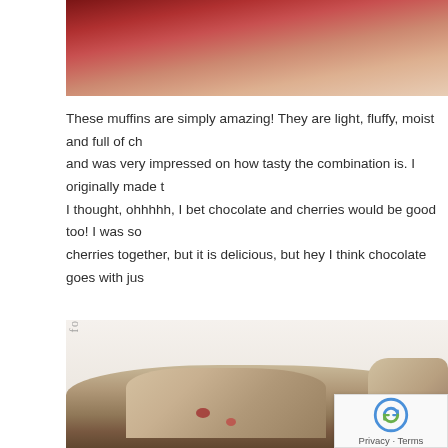[Figure (photo): Top portion of a food photo showing cherries or red fruit on a light background, partially cropped]
These muffins are simply amazing! They are light, fluffy, moist and full of ch... and was very impressed on how tasty the combination is. I originally made t... I thought, ohhhhh, I bet chocolate and cherries would be good too! I was so... cherries together, but it is delicious, but hey I think chocolate goes with jus...
[Figure (photo): Close-up photo of a chocolate cherry muffin cut in half, showing the interior with cherries, on a white plate. A handwritten script signature is visible on the left side of the image.]